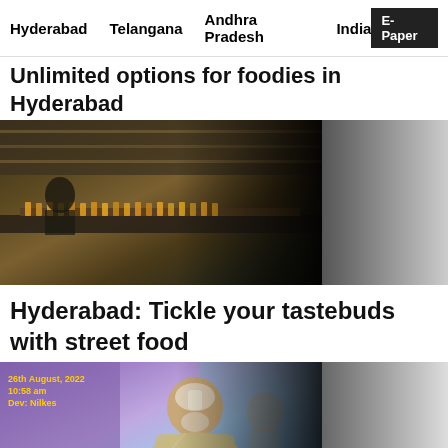Hyderabad   Telangana   Andhra Pradesh   India   E-Paper
Unlimited options for foodies in Hyderabad
[Figure (photo): A food stall or buffet counter with rows of skewered food items; people visible in the background; dark interior with warm lighting fading to grey on the right side.]
Hyderabad: Tickle your tastebuds with street food
[Figure (photo): An elderly Indian man with white face markings and sacred thread, seated cross-legged in a meditative pose against a purple and blue background. A timestamp overlay reads '26th August, 2022 10:58 am Dev: Nilkes'.]